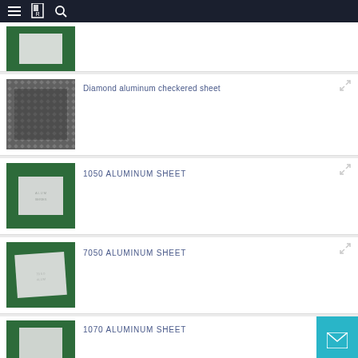Navigation bar with menu, logo, and search icons
[Figure (photo): Partial product card showing aluminum sheet on green background, cut off at top]
Diamond aluminum checkered sheet
[Figure (photo): Diamond aluminum checkered sheet product thumbnail on dark background]
1050 ALUMINUM SHEET
[Figure (photo): 1050 aluminum sheet product thumbnail on green background]
7050 ALUMINUM SHEET
[Figure (photo): 7050 aluminum sheet product thumbnail on green background]
1070 ALUMINUM SHEET
[Figure (photo): 1070 aluminum sheet product thumbnail on green background, partially visible]